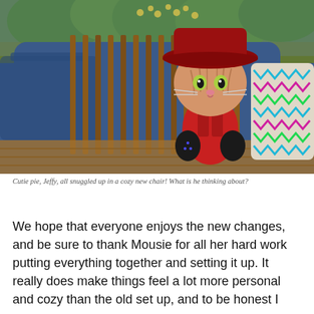[Figure (photo): A composite photo-illustration of a cartoon cat character named Jeffy wearing a dark red cowboy hat and red jacket with black boots/gloves, sitting in a large blue armchair on what appears to be an outdoor porch or deck. Wooden fence slats and yellow flowers are visible in the background, along with a decorative patterned pillow on the right side of the chair.]
Cutie pie, Jeffy, all snuggled up in a cozy new chair! What is he thinking about?
We hope that everyone enjoys the new changes, and be sure to thank Mousie for all her hard work putting everything together and setting it up. It really does make things feel a lot more personal and cozy than the old set up, and to be honest I